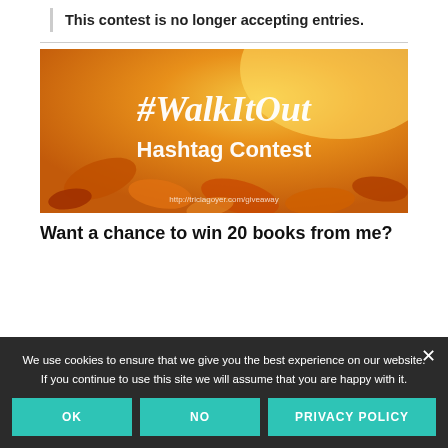This contest is no longer accepting entries.
[Figure (illustration): #WalkItOut Hashtag Contest banner with autumn leaves background. Text reads '#WalkItOut Hashtag Contest' and 'http://triciagoyer.com/giveaway']
Want a chance to win 20 books from me?
We use cookies to ensure that we give you the best experience on our website. If you continue to use this site we will assume that you are happy with it.
OK  NO  PRIVACY POLICY